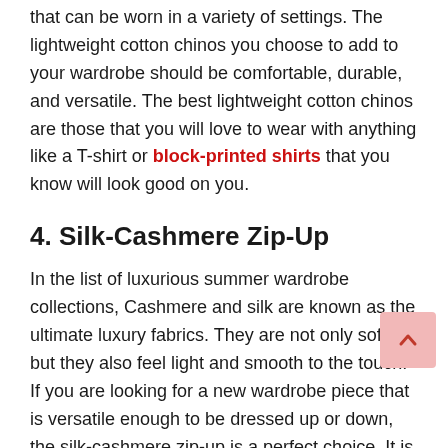that can be worn in a variety of settings. The lightweight cotton chinos you choose to add to your wardrobe should be comfortable, durable, and versatile. The best lightweight cotton chinos are those that you will love to wear with anything like a T-shirt or block-printed shirts that you know will look good on you.
4. Silk-Cashmere Zip-Up
In the list of luxurious summer wardrobe collections, Cashmere and silk are known as the ultimate luxury fabrics. They are not only soft, but they also feel light and smooth to the touch. If you are looking for a new wardrobe piece that is versatile enough to be dressed up or down, the silk-cashmere zip-up is a perfect choice. It is a great layering piece that can be worn all year round. A classic silk-cashmere zip-up can elevate an outfit from casual to dressy and is a great piece for travel as it is extremely lightweight yet warm.
5. 5Linen-Polo Jersey
Linen- Jersey Polo is one of the most luxurious and